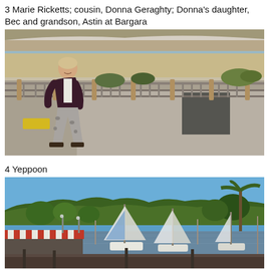3 Marie Ricketts; cousin, Donna Geraghty; Donna's daughter, Bec and grandson, Astin at Bargara
[Figure (photo): A woman standing on a beachfront promenade with a metal railing, sandy beach and tidal flats visible in the background. The woman has short blonde hair, wearing a dark cardigan over white top, patterned trousers and sandals.]
4 Yeppoon
[Figure (photo): A marina or harbour scene at Yeppoon showing sailboats moored in shallow water, with green tree-covered hills in the background under a clear blue sky. A boatshed with a striped red and white roof is visible on the lower left.]